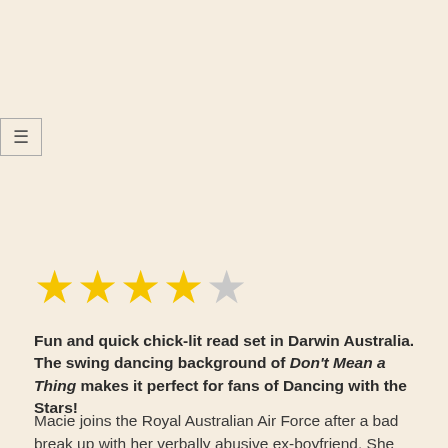[Figure (other): Hamburger menu button icon (three horizontal lines) inside a rectangular border]
[Figure (other): Star rating: 4 out of 5 stars — four filled yellow stars and one empty/grey star]
Fun and quick chick-lit read set in Darwin Australia. The swing dancing background of Don't Mean a Thing makes it perfect for fans of Dancing with the Stars!
Macie joins the Royal Australian Air Force after a bad break up with her verbally abusive ex-boyfriend. She